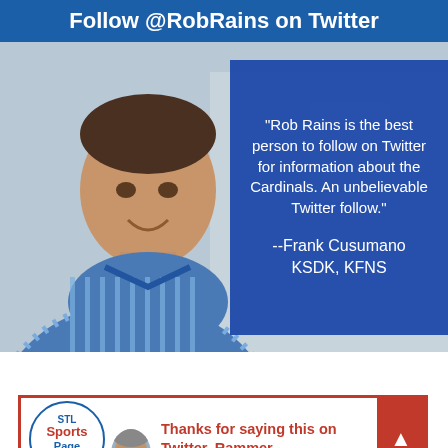Follow @RobRains on Twitter
[Figure (photo): Man in blue striped polo shirt smiling, with blue overlay box containing quote]
"Rob Rains is the best person to follow on Twitter for information about the Cardinals. An unbelievable Twitter follow."
--Frank Cusumano KSDK, KFNS
[Figure (logo): STL Sports Page .com logo in a circle]
Thanks for saying this on Twitter, Rammer.